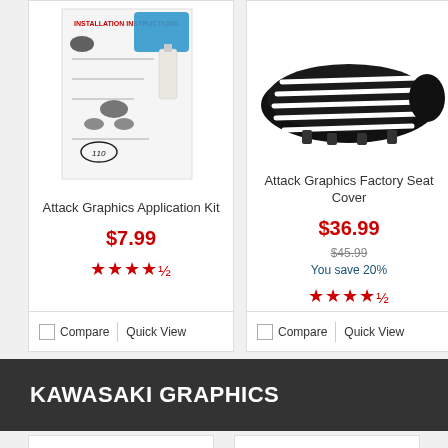[Figure (photo): Attack Graphics Application Kit product photo showing installation instructions sheet, blue squeegee, and bottle]
Attack Graphics Application Kit
$7.99
★★★★½
[Figure (photo): Attack Graphics Factory Seat Cover product photo showing black seat cover with white ribbed stripes]
Attack Graphics Factory Seat Cover
$36.99
$45.99
You save 20%
★★★★½
[Figure (photo): Partial product photo cropped on right edge]
Atta
$2...
Y...
KAWASAKI GRAPHICS